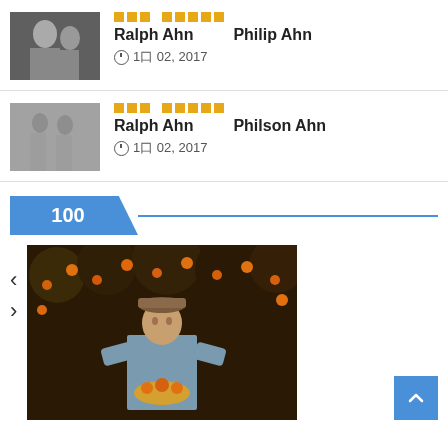[Figure (photo): Black and white photo of two people, a man and a woman]
Ralph Ahn   Philip Ahn
⊙ 10 02, 2017
[Figure (photo): Black and white photo of people standing outdoors]
Ralph Ahn   Philson Ahn
⊙ 10 02, 2017
100
[Figure (photo): Color photo of a man in a cap picking oranges in an orange grove]